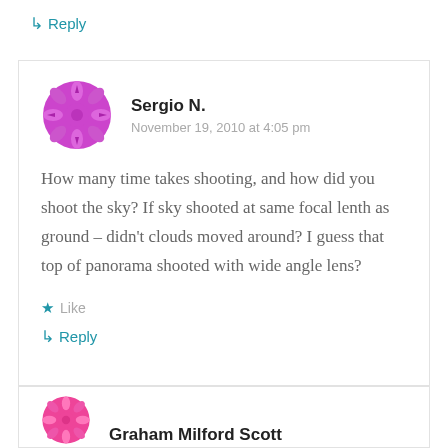↳ Reply
[Figure (illustration): Purple snowflake/flower avatar icon for user Sergio N.]
Sergio N.
November 19, 2010 at 4:05 pm
How many time takes shooting, and how did you shoot the sky? If sky shooted at same focal lenth as ground – didn't clouds moved around? I guess that top of panorama shooted with wide angle lens?
★ Like
↳ Reply
[Figure (illustration): Pink/magenta snowflake/flower avatar icon for user Graham Milford Scott]
Graham Milford Scott